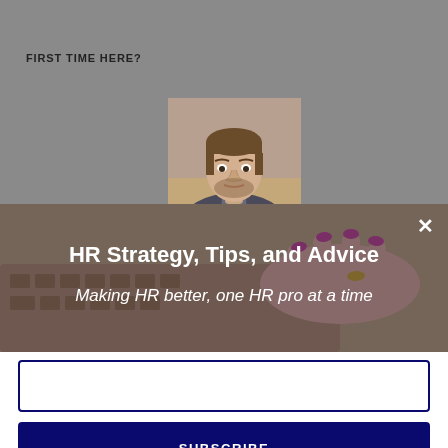FIRST TIME HERE?
[Figure (photo): Portrait photo of a young man with brown hair and beard against a decorative background]
[Figure (photo): Background photo of hands on a laptop/notebook keyboard with pink nail polish, overlaid with dark blue tint]
HR Strategy, Tips, and Advice
Making HR better, one HR pro at a time
×
Email
SUBSCRIBE